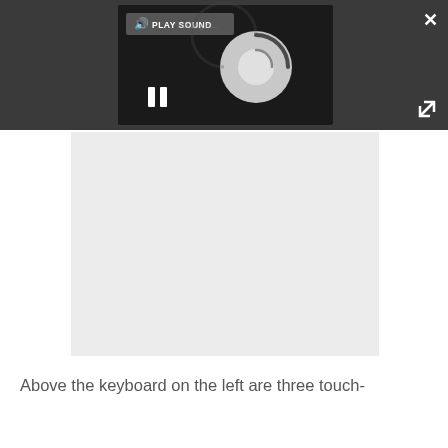[Figure (screenshot): Media player panel on dark toolbar showing a 'PLAY SOUND' button with speaker icon, a spinning loading circle (grey arc on dark background), and a pause button (double vertical bars). A close X button appears top right. Below is a light grey media placeholder area.]
Above the keyboard on the left are three touch-